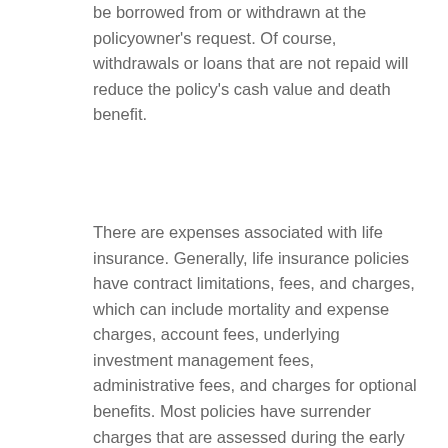be borrowed from or withdrawn at the policyowner's request. Of course, withdrawals or loans that are not repaid will reduce the policy's cash value and death benefit.
There are expenses associated with life insurance. Generally, life insurance policies have contract limitations, fees, and charges, which can include mortality and expense charges, account fees, underlying investment management fees, administrative fees, and charges for optional benefits. Most policies have surrender charges that are assessed during the early years of the contract if the contract owner surrenders the policy. Any guarantees are contingent on the financial strength and claims-paying ability of the issuing insurance company. Life insurance is not guaranteed by the FDIC or any other government agency; it is not a deposit of, nor is it guaranteed or endorsed by, any bank or savings association. The cost and availability of life insurance depend on factors such as age,